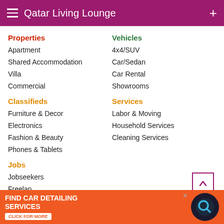Qatar Living Lounge
Properties
Apartment
Shared Accommodation
Villa
Commercial
Vehicles
4x4/SUV
Car/Sedan
Car Rental
Showrooms
Classifieds
Furniture & Decor
Electronics
Fashion & Beauty
Phones & Tablets
Services
Labor & Moving
Household Services
Cleaning Services
Jobs
Jobseekers
Freelan...
Pages
Living2022
Social
[Figure (infographic): Advertisement banner: FIND CAR DETAILING SERVICES - CLICK FOR MORE]